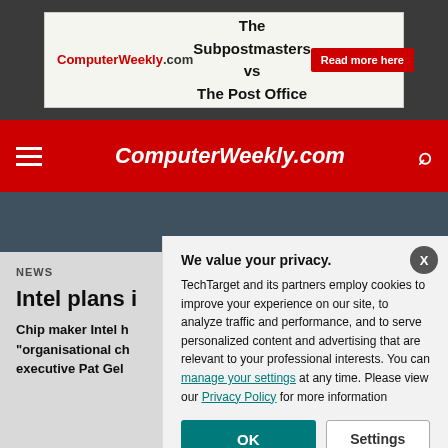[Figure (screenshot): Advertisement banner: ComputerWeekly.com logo on left, 'The Subpostmasters vs The Post Office' text in center, 'Read more here' red button on right]
ComputerWeekly.com
NEWS
Intel plans i
Chip maker Intel h "organisational ch executive Pat Gel
We value your privacy. TechTarget and its partners employ cookies to improve your experience on our site, to analyze traffic and performance, and to serve personalized content and advertising that are relevant to your professional interests. You can manage your settings at any time. Please view our Privacy Policy for more information